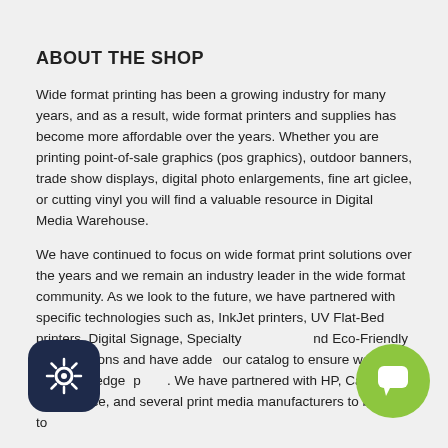ABOUT THE SHOP
Wide format printing has been a growing industry for many years, and as a result, wide format printers and supplies has become more affordable over the years. Whether you are printing point-of-sale graphics (pos graphics), outdoor banners, trade show displays, digital photo enlargements, fine art giclee, or cutting vinyl you will find a valuable resource in Digital Media Warehouse.
We have continued to focus on wide format print solutions over the years and we remain an industry leader in the wide format community. As we look to the future, we have partnered with specific technologies such as, InkJet printers, UV Flat-Bed printers, Digital Signage, Specialty and Eco-Friendly print solutions and have added our catalog to ensure we have a leading-edge p...  We have partnered with HP, Canon, Mutoh, Oce, and several print media manufacturers to be able to
[Figure (logo): Dark navy rounded square icon with a gear/settings symbol]
[Figure (logo): Green circular chat bubble icon]